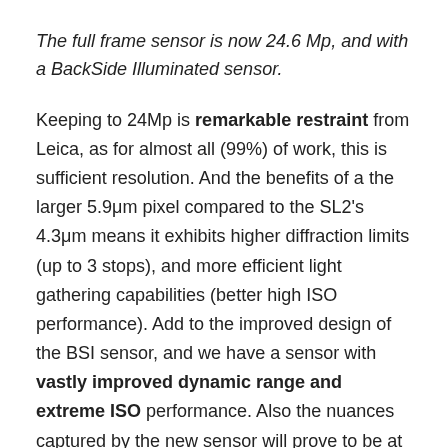The full frame sensor is now 24.6 Mp, and with a BackSide Illuminated sensor.
Keeping to 24Mp is remarkable restraint from Leica, as for almost all (99%) of work, this is sufficient resolution. And the benefits of a the larger 5.9μm pixel compared to the SL2's 4.3μm means it exhibits higher diffraction limits (up to 3 stops), and more efficient light gathering capabilities (better high ISO performance). Add to the improved design of the BSI sensor, and we have a sensor with vastly improved dynamic range and extreme ISO performance. Also the nuances captured by the new sensor will prove to be at a much higher quality than the older sensors. As I am already very impressed with the performance of the SL2, I will be